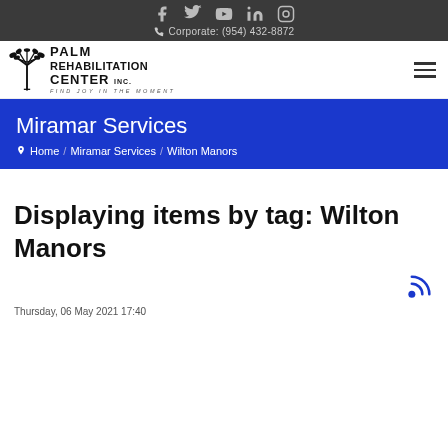Corporate: (954) 432-8872
[Figure (logo): Palm Rehabilitation Center Inc. logo with palm tree icon and tagline 'Find Joy In The Moment']
Miramar Services
Home / Miramar Services / Wilton Manors
Displaying items by tag: Wilton Manors